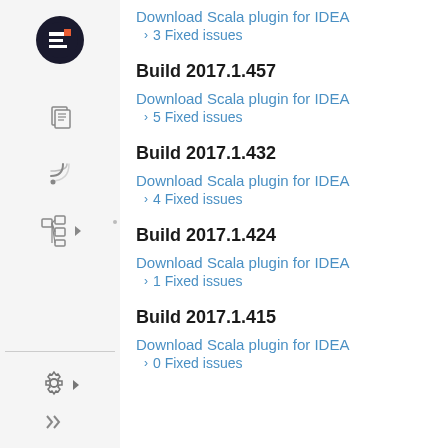[Figure (screenshot): Left sidebar with JetBrains-style IDE icons including logo, documents icon, RSS feed icon, tree/hierarchy icon with dropdown, settings gear icon with dropdown arrow, and double-chevron icon. Vertical dividers separate sections.]
Download Scala plugin for IDEA
> 3 Fixed issues
Build 2017.1.457
Download Scala plugin for IDEA
> 5 Fixed issues
Build 2017.1.432
Download Scala plugin for IDEA
> 4 Fixed issues
Build 2017.1.424
Download Scala plugin for IDEA
> 1 Fixed issues
Build 2017.1.415
Download Scala plugin for IDEA
> 0 Fixed issues